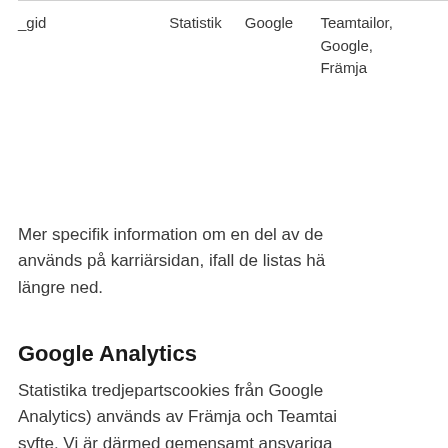| _gid | Statistik | Google | Teamtailor,
Google,
Främja |
Mer specifik information om en del av de används på karriärsidan, ifall de listas hä längre ned.
Google Analytics
Statistika tredjepartscookies från Google Analytics) används av Främja och Teamtai syfte. Vi är därmed gemensamt ansvariga användningen av dessa cookies.